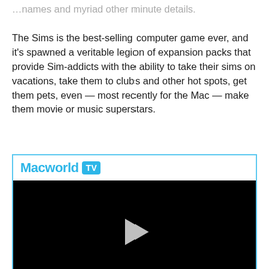…names and myriad other minute details.

The Sims is the best-selling computer game ever, and it's spawned a veritable legion of expansion packs that provide Sim-addicts with the ability to take their sims on vacations, take them to clubs and other hot spots, get them pets, even — most recently for the Mac — make them movie or music superstars.
[Figure (screenshot): Macworld TV video player widget with cyan/blue branded header showing 'Macworld TV' logo and a black video area with a play button in the center.]